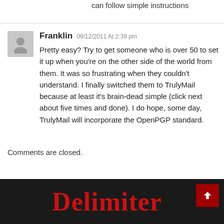can follow simple instructions
Franklin 09/12/2011 At 2:39 pm
Pretty easy? Try to get someone who is over 50 to set it up when you're on the other side of the world from them. It was so frustrating when they couldn't understand. I finally switched them to TrulyMail because at least it's brain-dead simple (click next about five times and done). I do hope, some day, TrulyMail will incorporate the OpenPGP standard.
Comments are closed.
Delimiter